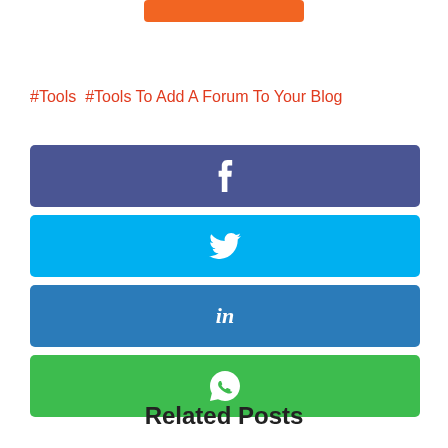[Figure (other): Orange button/bar at top of page]
#Tools  #Tools To Add A Forum To Your Blog
[Figure (infographic): Facebook share button (dark blue-purple)]
[Figure (infographic): Twitter share button (light blue)]
[Figure (infographic): LinkedIn share button (dark blue)]
[Figure (infographic): WhatsApp share button (green)]
Related Posts